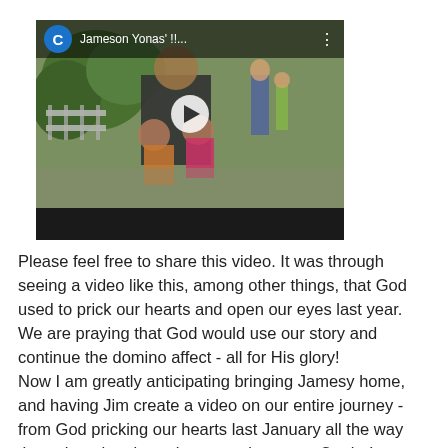[Figure (screenshot): Embedded video player thumbnail showing a man hugging two children outdoors with other people in the background. Video header shows a blue 'C' avatar circle and title 'Jameson Yonas'...' with a play button overlay.]
Please feel free to share this video. It was through seeing a video like this, among other things, that God used to prick our hearts and open our eyes last year. We are praying that God would use our story and continue the domino affect - all for His glory!
Now I am greatly anticipating bringing Jamesy home, and having Jim create a video on our entire journey - from God pricking our hearts last January all the way through to the airport homecoming party. Oooh, I cannot wait! It's going to be a feature-length film! [grin]